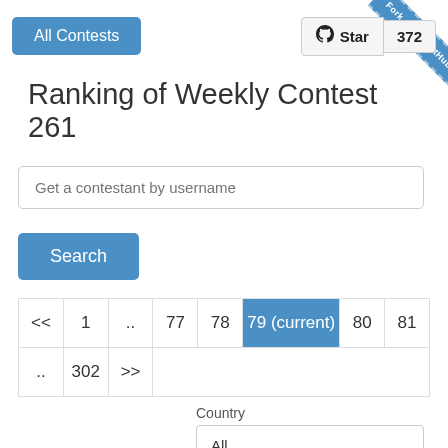All Contests
Star 372
Fork me on GitHub
Ranking of Weekly Contest 261
Get a contestant by username
Search
| << | 1 | .. | 77 | 78 | 79 (current) | 80 | 81 |
| .. | 302 | >> |  |
Country
All
#   Username   Rank  Du...  Score  Finish